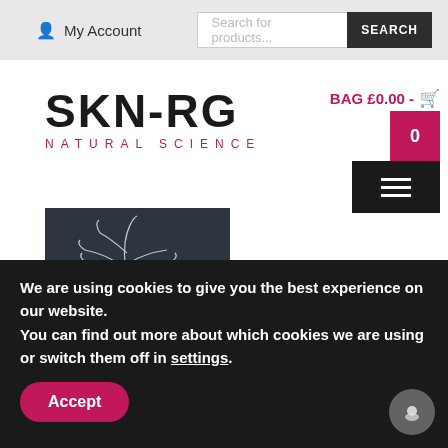My Account | Search for products... SEARCH
[Figure (logo): SKN-RG Natural Science logo with text]
BAG £0.00 - 0
[Figure (illustration): Dark background product image with white botanical/anatomical line drawing]
We are using cookies to give you the best experience on our website.
You can find out more about which cookies we are using or switch them off in settings.
Accept